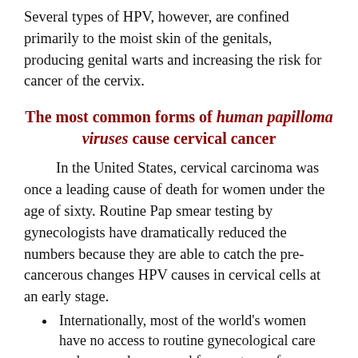Several types of HPV, however, are confined primarily to the moist skin of the genitals, producing genital warts and increasing the risk for cancer of the cervix.
The most common forms of human papilloma viruses cause cervical cancer
In the United States, cervical carcinoma was once a leading cause of death for women under the age of sixty. Routine Pap smear testing by gynecologists have dramatically reduced the numbers because they are able to catch the pre-cancerous changes HPV causes in cervical cells at an early stage.
Internationally, most of the world's women have no access to routine gynecological care and are rarely screened for any type of women's